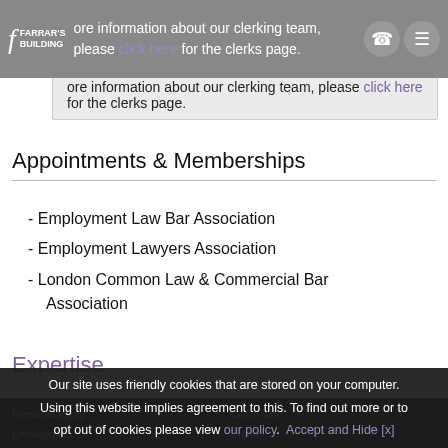FARRAR'S BUILDING — more information about our clerking team, please click here for the clerks page.
more information about our clerking team, please click here for the clerks page.
Appointments & Memberships
- Employment Law Bar Association
- Employment Lawyers Association
- London Common Law & Commercial Bar Association
Expertise
Personal Injury  Civil Fraud  Employment  Crime  Health & Safety  Clinical Negligence  Regulatory & Disciplinary  Criminal Fraud  Inquests  General Common Law
Our site uses friendly cookies that are stored on your computer. Using this website implies agreement to this. To find out more or to opt out of cookies please view our policy. Accept and Hide [x]